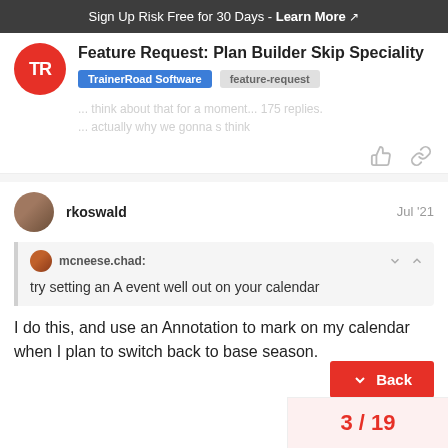Sign Up Risk Free for 30 Days - Learn More
Feature Request: Plan Builder Skip Speciality
TrainerRoad Software   feature-request
rkoswald   Jul '21
mcneese.chad:
try setting an A event well out on your calendar
I do this, and use an Annotation to mark on my calendar when I plan to switch back to base season.
3 / 19